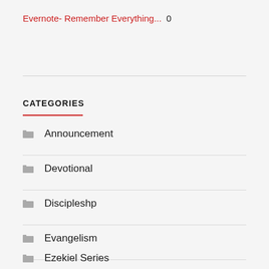Evernote- Remember Everything... 0
CATEGORIES
Announcement
Devotional
Discipleshp
Evangelism
Ezekiel Series